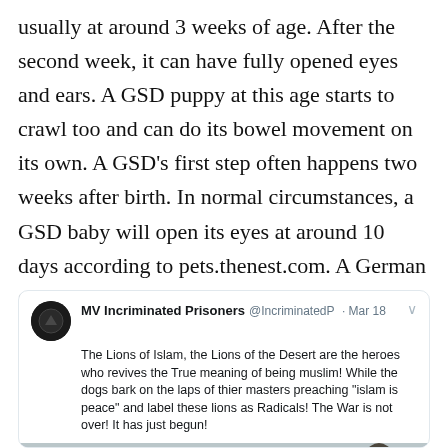usually at around 3 weeks of age. After the second week, it can have fully opened eyes and ears. A GSD puppy at this age starts to crawl too and can do its bowel movement on its own. A GSD's first step often happens two weeks after birth. In normal circumstances, a GSD baby will open its eyes at around 10 days according to pets.thenest.com. A German Shepherd Puppy's Third Week
[Figure (screenshot): Embedded tweet from MV Incriminated Prisoners (@IncriminatedP) dated Mar 18 with text about 'Lions of Islam' and an attached photo of children in a desert setting.]